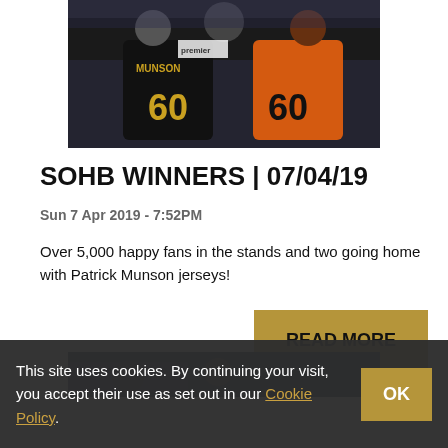[Figure (photo): Two people holding hockey jerseys numbered 60 with name MUNSON, one black jersey and one orange jersey, posed in front of a crowd]
SOHB WINNERS | 07/04/19
Sun 7 Apr 2019 - 7:52PM
Over 5,000 happy fans in the stands and two going home with Patrick Munson jerseys!
READ MORE
[Figure (photo): Partial view of another article's photo below]
This site uses cookies. By continuing your visit, you accept their use as set out in our Cookie Policy. OK